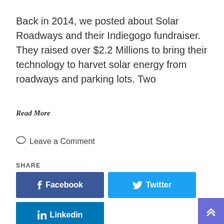Back in 2014, we posted about Solar Roadways and their Indiegogo fundraiser.  They raised over $2.2 Millions to bring their technology to harvet solar energy from roadways and parking lots.  Two
Read More
Leave a Comment
SHARE
[Figure (infographic): Social share buttons: Facebook (blue), Twitter (light blue), Pinterest (red), Linkedin (dark blue)]